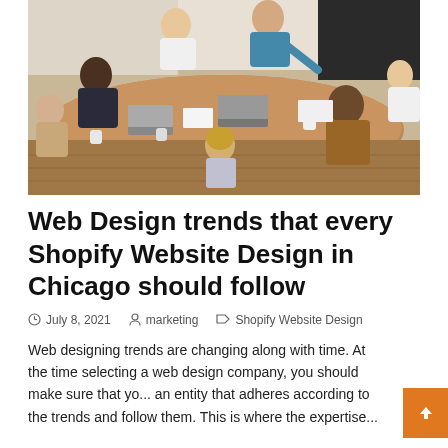[Figure (photo): Group of diverse people sitting around a conference table with laptops and documents, with one person standing and presenting. Office meeting scene shot from above at an angle.]
Web Design trends that every Shopify Website Design in Chicago should follow
July 8, 2021   marketing   Shopify Website Design
Web designing trends are changing along with time. At the time selecting a web design company, you should make sure that yo... an entity that adheres according to the trends and follow them. This is where the expertise...